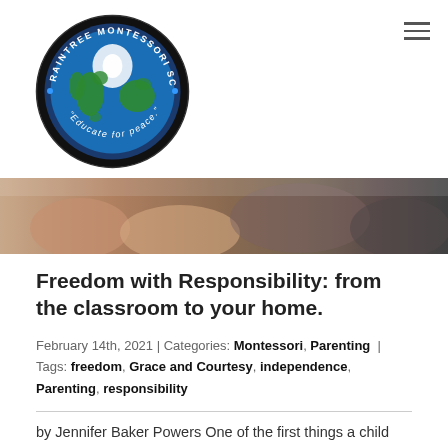[Figure (logo): Raintree Montessori School circular logo with globe and text 'Educate for peace']
[Figure (photo): Close-up photo of hands, likely children and adult hands together, brown tones]
Freedom with Responsibility: from the classroom to your home.
February 14th, 2021 | Categories: Montessori, Parenting | Tags: freedom, Grace and Courtesy, independence, Parenting, responsibility
by Jennifer Baker Powers One of the first things a child learns upon entering a Montessori classroom is the symbiotic relationship between freedom...